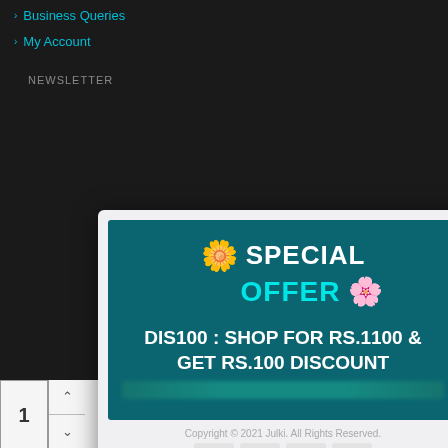> Business Queries
> My Account
[Figure (screenshot): A modal popup dialog showing a special offer banner on a dark website background. The modal contains a teal/dark-cyan promotional banner with 'SPECIAL OFFER' text and flowers, showing the offer code 'DIS100 : SHOP FOR RS.1100 & GET RS.100 DISCOUNT'. Below the banner is a copyright footer and payment icons. A checkbox reading 'Don't show again.' appears at the bottom of the modal. A pink close (X) button is in the top-right corner of the modal.]
Don't show again.
ADD TO CART